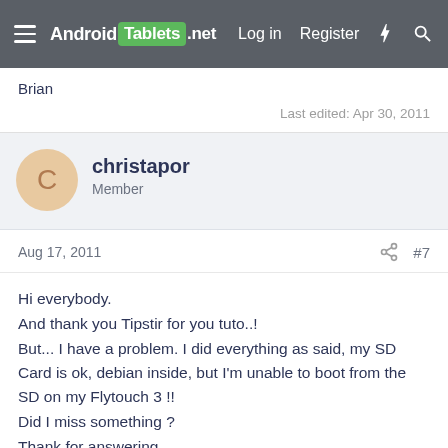AndroidTablets.net  Log in  Register
Brian
Last edited: Apr 30, 2011
christapor
Member
Aug 17, 2011  #7
Hi everybody.
And thank you Tipstir for you tuto..!
But... I have a problem. I did everything as said, my SD Card is ok, debian inside, but I'm unable to boot from the SD on my Flytouch 3 !!
Did I miss something ?
Thank for answering.